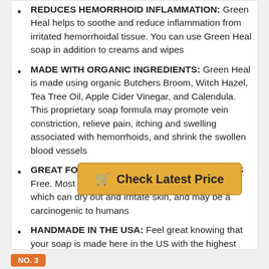REDUCES HEMORRHOID INFLAMMATION: Green Heal helps to soothe and reduce inflammation from irritated hemorrhoidal tissue. You can use Green Heal soap in addition to creams and wipes
MADE WITH ORGANIC INGREDIENTS: Green Heal is made using organic Butchers Broom, Witch Hazel, Tea Tree Oil, Apple Cider Vinegar, and Calendula. This proprietary soap formula may promote vein constriction, relieve pain, itching and swelling associated with hemorrhoids, and shrink the swollen blood vessels
GREAT FOR SENSITIVE SKIN: Green Heal is SLS Free. Most soaps contain Sodium Lauryl Sulfate which can dry out and irritate skin, and may be a carcinogenic to humans
HANDMADE IN THE USA: Feel great knowing that your soap is made here in the US with the highest quality ingredients
[Figure (other): Orange 'Check Latest Price' button with shopping cart icon]